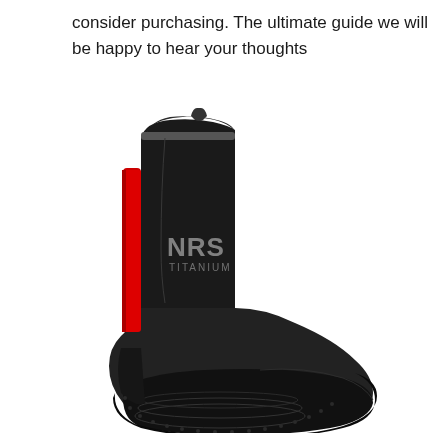consider purchasing. The ultimate guide we will be happy to hear your thoughts
[Figure (photo): NRS Titanium neoprene water boot/shoe, black with red accent stripe on the heel, textured rubber sole, shown in profile view against white background]